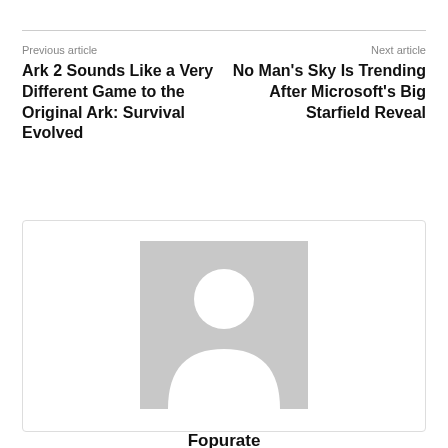Previous article
Ark 2 Sounds Like a Very Different Game to the Original Ark: Survival Evolved
Next article
No Man's Sky Is Trending After Microsoft's Big Starfield Reveal
[Figure (illustration): Generic user avatar placeholder — grey square with white silhouette of a person (head circle and body shape)]
Fopurate
https://vfastfurnaces.com